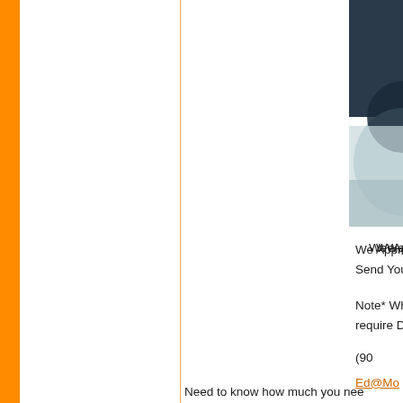[Figure (photo): Partial photo visible at top right corner of page, appears to show a dark circular object on a light/blue background]
We Appreciated
Send Your B
Note* When calli
require Dig
(90
Ed@Mo
Need to know how much you nee